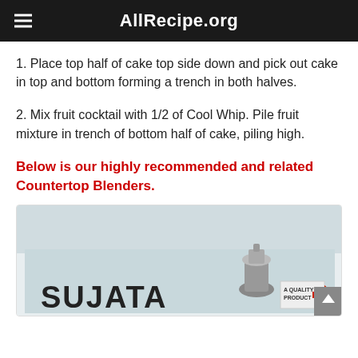AllRecipe.org
1. Place top half of cake top side down and pick out cake in top and bottom forming a trench in both halves.
2. Mix fruit cocktail with 1/2 of Cool Whip. Pile fruit mixture in trench of bottom half of cake, piling high.
Below is our highly recommended and related Countertop Blenders.
[Figure (photo): Photo of a SUJATA branded countertop blender product box, showing the blender appliance on the packaging.]